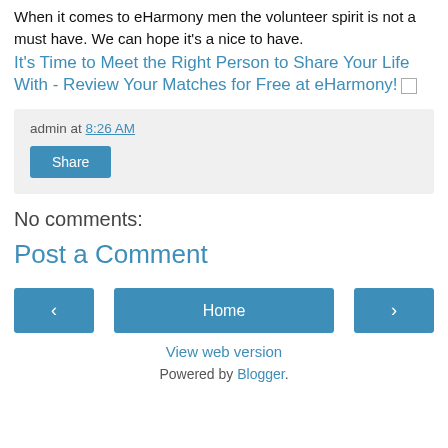When it comes to eHarmony men the volunteer spirit is not a must have. We can hope it's a nice to have.
It's Time to Meet the Right Person to Share Your Life With - Review Your Matches for Free at eHarmony!
admin at 8:26 AM
Share
No comments:
Post a Comment
Home
View web version
Powered by Blogger.